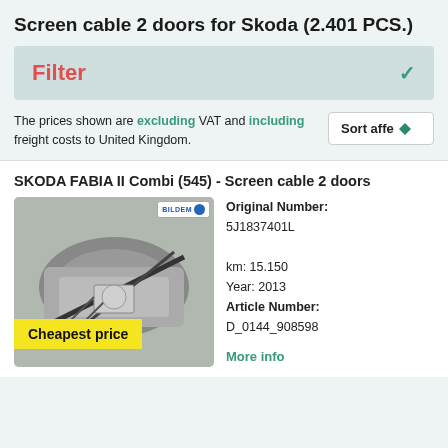Screen cable 2 doors for Skoda (2.401 PCS.)
Filter
The prices shown are excluding VAT and including freight costs to United Kingdom.
Sort afte
SKODA FABIA II Combi (545) - Screen cable 2 doors
[Figure (photo): Photo of a car window regulator/screen cable mechanism with a yellow 'Cheapest price' badge overlay and BILDEM logo badge in top right corner]
Original Number: 5J1837401L

km: 15.150
Year: 2013
Article Number: D_0144_908598
More info